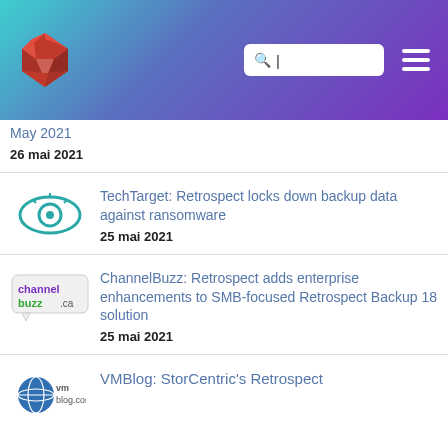Retrospect website header with logo, search box, and navigation menu
May 2021
26 mai 2021
[Figure (logo): TechTarget eye logo - teal circular eye icon]
TechTarget: Retrospect locks down backup data against ransomware
25 mai 2021
[Figure (logo): ChannelBuzz.ca logo - purple and green text with speech bubble]
ChannelBuzz: Retrospect adds enterprise enhancements to SMB-focused Retrospect Backup 18 solution
25 mai 2021
[Figure (logo): VMblog.com logo - blue globe icon with text]
VMBlog: StorCentric's Retrospect